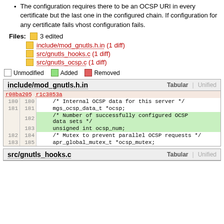The configuration requires there to be an OCSP URI in every certificate but the last one in the configured chain. If configuration for any certificate fails vhost configuration fails.
Files: 3 edited
include/mod_gnutls.h.in (1 diff)
src/gnutls_hooks.c (1 diff)
src/gnutls_ocsp.c (1 diff)
Unmodified   Added   Removed
| r08ba205 | r1c3853a | code |
| --- | --- | --- |
| 180 | 180 | /* Internal OCSP data for this server */ |
| 181 | 181 | mgs_ocsp_data_t *ocsp; |
|  | 182 | /* Number of successfully configured OCSP data sets */ |
|  | 183 | unsigned int ocsp_num; |
| 182 | 184 | /* Mutex to prevent parallel OCSP requests */ |
| 183 | 185 | apr_global_mutex_t *ocsp_mutex; |
include/mod_gnutls.h.in
src/gnutls_hooks.c